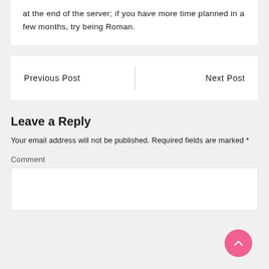at the end of the server; if you have more time planned in a few months, try being Roman.
Previous Post
Next Post
Leave a Reply
Your email address will not be published. Required fields are marked *
Comment